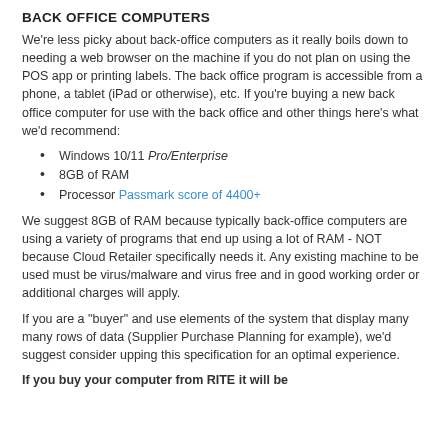BACK OFFICE COMPUTERS
We're less picky about back-office computers as it really boils down to needing a web browser on the machine if you do not plan on using the POS app or printing labels.  The back office program is accessible from a phone, a tablet (iPad or otherwise), etc.  If you're buying a new back office computer for use with the back office and other things here's what we'd recommend:
Windows 10/11 Pro/Enterprise
8GB of RAM
Processor Passmark score of 4400+
We suggest 8GB of RAM because typically back-office computers are using a variety of programs that end up using a lot of RAM - NOT because Cloud Retailer specifically needs it.  Any existing machine to be used must be virus/malware and virus free and in good working order or additional charges will apply.
If you are a "buyer" and use elements of the system that display many many rows of data (Supplier Purchase Planning for example), we'd suggest consider upping this specification for an optimal experience.
If you buy your computer from RITE it will be